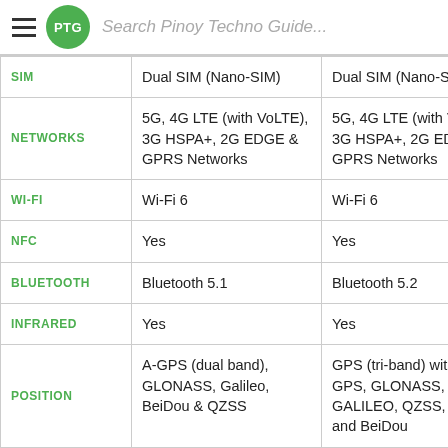Search Pinoy Techno Guide...
|  | Device 1 | Device 2 |
| --- | --- | --- |
| SIM | Dual SIM (Nano-SIM) | Dual SIM (Nano-SIM) |
| NETWORKS | 5G, 4G LTE (with VoLTE), 3G HSPA+, 2G EDGE & GPRS Networks | 5G, 4G LTE (with VoLTE), 3G HSPA+, 2G EDGE & GPRS Networks |
| WI-FI | Wi-Fi 6 | Wi-Fi 6 |
| NFC | Yes | Yes |
| BLUETOOTH | Bluetooth 5.1 | Bluetooth 5.2 |
| INFRARED | Yes | Yes |
| POSITION | A-GPS (dual band), GLONASS, Galileo, BeiDou & QZSS | GPS (tri-band) with A-GPS, GLONASS, GALILEO, QZSS, NavIc and BeiDou |